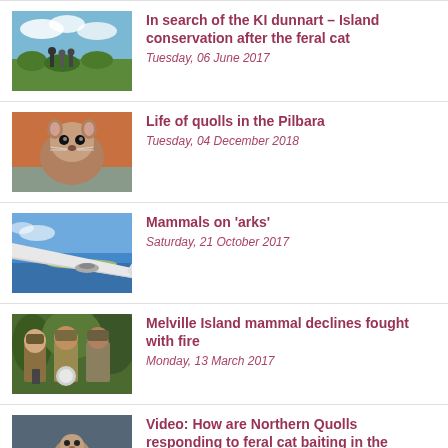[Figure (photo): People standing in shrubland/grassland with blue sky]
In search of the KI dunnart – Island conservation after the feral cat
Tuesday, 06 June 2017
[Figure (photo): Close-up of a small furry marsupial (quoll) being held]
Life of quolls in the Pilbara
Tuesday, 04 December 2018
[Figure (photo): Airplane wing over ocean/island aerial view with blue sky]
Mammals on 'arks'
Saturday, 21 October 2017
[Figure (photo): Three people in ranger uniforms standing in vegetation]
Melville Island mammal declines fought with fire
Monday, 13 March 2017
[Figure (photo): Hands handling a small animal, close-up shot]
Video: How are Northern Quolls responding to feral cat baiting in the